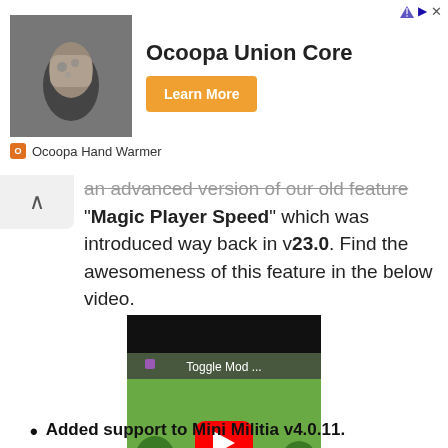[Figure (screenshot): Advertisement banner for Ocoopa Union Core hand warmer product. Shows product image on left, bold title 'Ocoopa Union Core', orange 'Learn More' button, and 'Ocoopa Hand Warmer' brand label below.]
an advanced version of our old feature "Magic Player Speed" which was introduced way back in v23.0. Find the awesomeness of this feature in the below video.
[Figure (screenshot): YouTube video embed placeholder showing 'Toggle Mod ...' title with YouTube play button over a Mini Militia game screenshot featuring cartoon characters and a jungle background.]
Added support to Mini Militia v4.0.11.